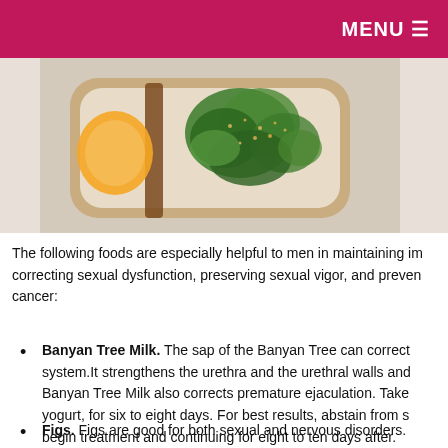MENU
[Figure (photo): A food photograph showing broccoli and vegetables in a container or plate, partially visible, with sesame seeds and greens.]
The following foods are especially helpful to men in maintaining im correcting sexual dysfunction, preserving sexual vigor, and preven cancer:
Banyan Tree Milk. The sap of the Banyan Tree can correct system.It strengthens the urethra and the urethral walls and Banyan Tree Milk also corrects premature ejaculation. Take yogurt, for six to eight days. For best results, abstain from s begin treatment and continuing for eight to ten days after.
Figs. Figs are good for both sexual and nervous disorders.